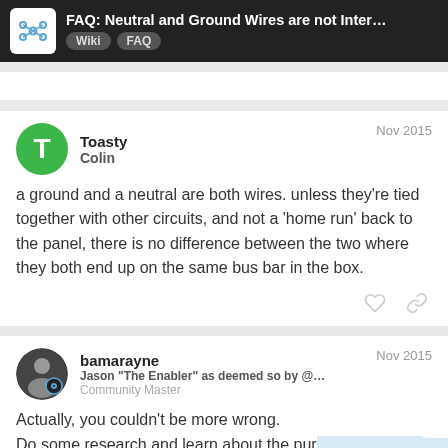FAQ: Neutral and Ground Wires are not Inter... Wiki FAQ
a ground and a neutral are both wires. unless they're tied together with other circuits, and not a 'home run' back to the panel, there is no difference between the two where they both end up on the same bus bar in the box.
Toasty Colin Nov 2015
bamarayne
Jason "The Enabler" as deemed so by @...
Community Master
Nov 2015
Actually, you couldn't be more wrong.
Do some research and learn about the pur ground and the neutral.